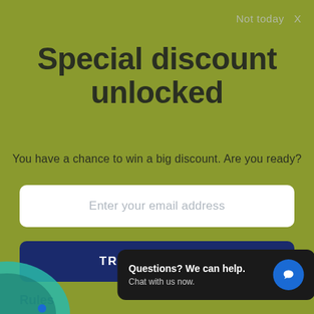Not today  X
Special discount unlocked
You have a chance to win a big discount. Are you ready?
Enter your email address
TRY YOUR LUCK
Rules
You can spin the wheel only once.
If you win, you...
Questions? We can help. Chat with us now.